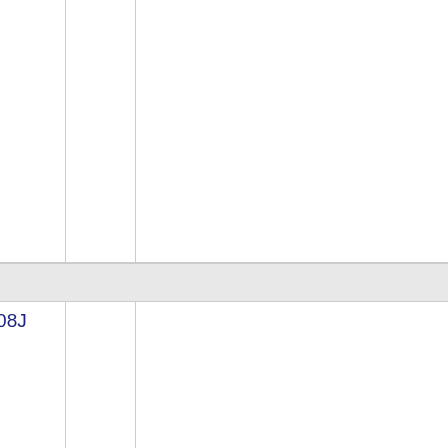Thousands block for 636-264
|  | MO | CENTURYLINK COMMUNICATIONS, LL (CenturyLink, Inc) | 508J |  |
| --- | --- | --- | --- | --- |
| 636-264-7 | MO | CENTURYLINK COMMUNICATIONS, LL (CenturyLink, Inc) | 508J |  |
Thousands block for 636-306
|  | MO | CENTURYLINK COMMUNICATIONS, LL (CenturyLink, Inc) | 508J |  |
| --- | --- | --- | --- | --- |
| 636-306-7 | MO | CENTURYLINK COMMUNICATIONS, LL (CenturyLink, Inc) | 508J |  |